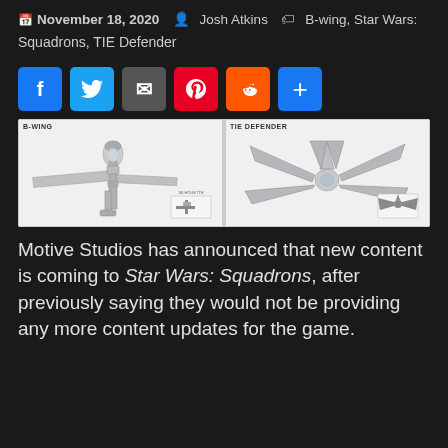November 18, 2020  Josh Atkins  B-wing, Star Wars: Squadrons, TIE Defender
[Figure (illustration): Side-by-side blueprint/artwork comparison of B-wing and TIE Defender spacecraft from Star Wars: Squadrons, with small silhouette size comparisons in lower corners.]
Motive Studios has announced that new content is coming to Star Wars: Squadrons, after previously saying they would not be providing any more content updates for the game.